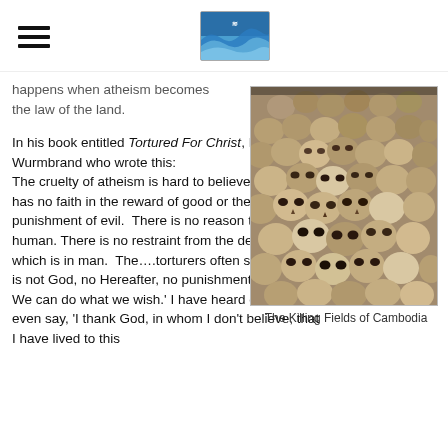[hamburger menu icon] [wave logo image]
happens when atheism becomes the law of the land.
In his book entitled Tortured For Christ, Richard Wurmbrand who wrote this:
The cruelty of atheism is hard to believe when man has no faith in the reward of good or the punishment of evil.  There is no reason to be human. There is no restraint from the depths of evil which is in man.  The….torturers often said, “There is not God, no Hereafter, no punishment for evil. We can do what we wish.’ I have heard one torturer even say, ‘I thank God, in whom I don’t believe, that I have lived to this
[Figure (photo): A large pile of human skulls stacked together, representing the Killing Fields of Cambodia]
The Killing Fields of Cambodia